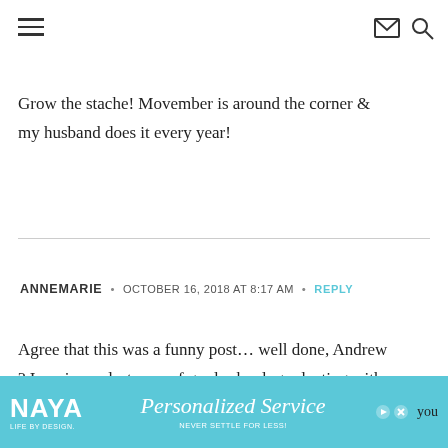Navigation bar with hamburger menu, envelope icon, and search icon
Grow the stache! Movember is around the corner & my husband does it every year!
ANNEMARIE • OCTOBER 16, 2018 AT 8:17 AM • REPLY
Agree that this was a funny post… well done, Andrew ? I am in my last year of grad school, graduating with my Masters in Social Work in May.. whoohoo! Honestly
[Figure (other): NAYA Personalized Service advertisement banner at bottom of page]